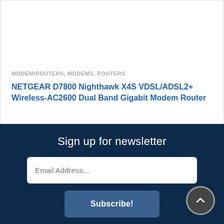MODEM/ROUTERS, MODEMS, ROUTERS
NETGEAR D7800 Nighthawk X4S VDSL/ADSL2+ Wireless-AC2600 Dual Band Gigabit Modem Router
Sign up for newsletter
Email Address...
Subscribe!